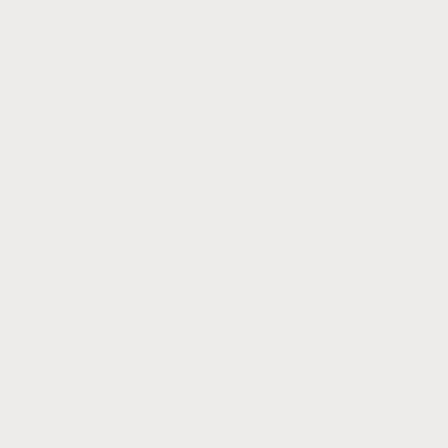[Figure (photo): Partial image at top of right panel, cropped]
Publicado en  Actualidad Unive
Leer más...
Lunes, 24 de Mayo de 2010 12:03
Pagina especial en la web de
Publicado en  Actualidad Unive
Leer más...
Viernes, 21 de Mayo de 2010 15:00
La Universidad de Córdoba y de excelencia en Biodiversid universidades de Almería, Ca
Las Universidades de Córdoba e Internacional (CEI) coordinado po cambio global. En total, participan
Publicado en  Actualidad Unive
Leer más...